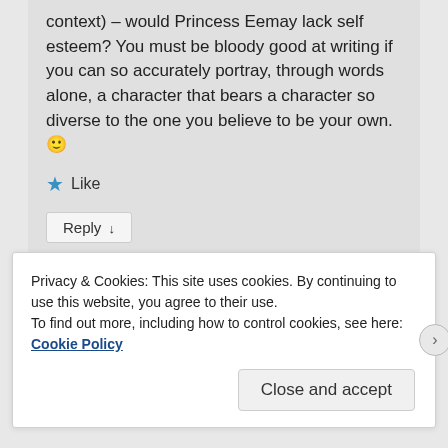context) – would Princess Eemay lack self esteem? You must be bloody good at writing if you can so accurately portray, through words alone, a character that bears a character so diverse to the one you believe to be your own. 🙂
★ Like
Reply ↓
Privacy & Cookies: This site uses cookies. By continuing to use this website, you agree to their use.
To find out more, including how to control cookies, see here: Cookie Policy
Close and accept